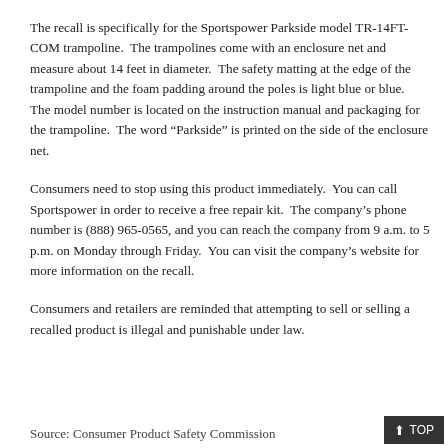The recall is specifically for the Sportspower Parkside model TR-14FT-COM trampoline.  The trampolines come with an enclosure net and measure about 14 feet in diameter.  The safety matting at the edge of the trampoline and the foam padding around the poles is light blue or blue.  The model number is located on the instruction manual and packaging for the trampoline.  The word “Parkside” is printed on the side of the enclosure net.
Consumers need to stop using this product immediately.  You can call Sportspower in order to receive a free repair kit.  The company’s phone number is (888) 965-0565, and you can reach the company from 9 a.m. to 5 p.m. on Monday through Friday.  You can visit the company’s website for more information on the recall.
Consumers and retailers are reminded that attempting to sell or selling a recalled product is illegal and punishable under law.
Source: Consumer Product Safety Commission